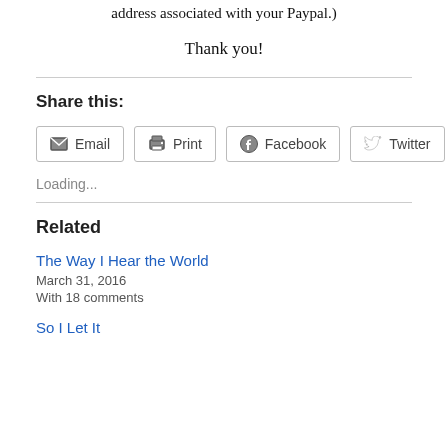address associated with your Paypal.)
Thank you!
Share this:
[Figure (other): Share buttons: Email, Print, Facebook, Twitter]
Loading...
Related
The Way I Hear the World
March 31, 2016
With 18 comments
So I Let It